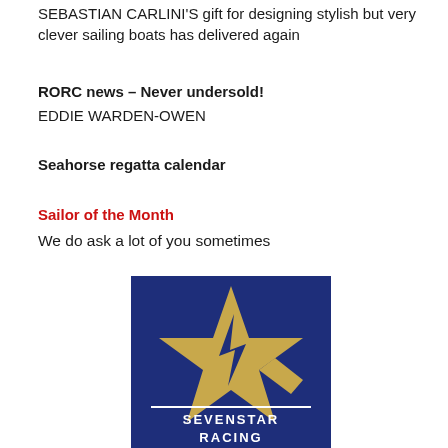SEBASTIAN CARLINI'S gift for designing stylish but very clever sailing boats has delivered again
RORC news – Never undersold!
EDDIE WARDEN-OWEN
Seahorse regatta calendar
Sailor of the Month
We do ask a lot of you sometimes
[Figure (logo): Sevenstar Racing logo — a gold star with a lightning bolt cut-out on a dark navy blue background, with white text reading SEVENSTAR RACING]